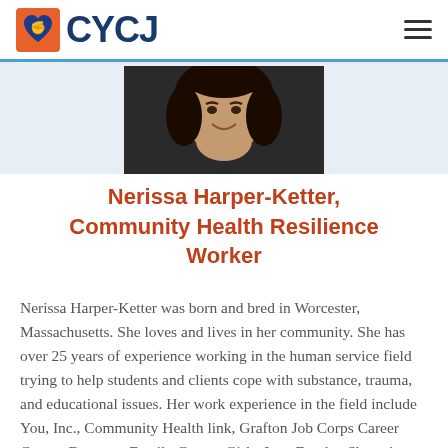CYCJ
[Figure (photo): Portrait photo of Nerissa Harper-Ketter, cropped showing face and upper body, dark curly hair, smiling, dark top]
Nerissa Harper-Ketter, Community Health Resilience Worker
Nerissa Harper-Ketter was born and bred in Worcester, Massachusetts. She loves and lives in her community. She has over 25 years of experience working in the human service field trying to help students and clients cope with substance, trauma, and educational issues. Her work experience in the field include You, Inc., Community Health link, Grafton Job Corps Career Center, Burncoat Family Center, Girls, Inc., Eureka. She enjoys volunteering with agencies that focus on youth, education, social justice, and community outreach. Some of those agencies